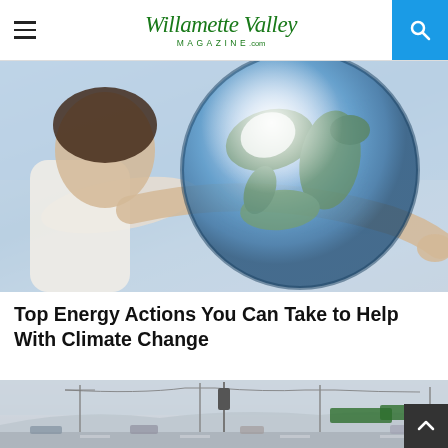Willamette Valley MAGAZINE .com
[Figure (photo): Young woman hugging a large transparent glass globe of the Earth against a light blue sky background]
Top Energy Actions You Can Take to Help With Climate Change
[Figure (photo): Street scene with traffic, utility poles, power lines, highway signs, and hazy smoggy sky in the background]